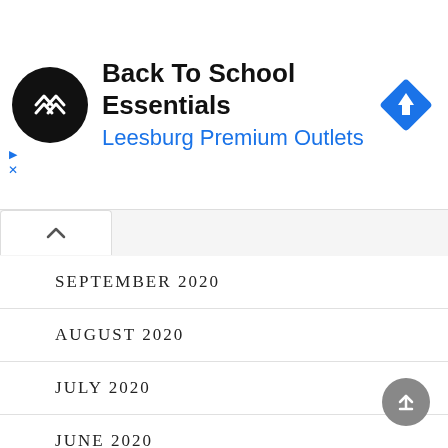[Figure (screenshot): Advertisement banner for Back To School Essentials at Leesburg Premium Outlets. Black circular logo with white arrow chevron icon on left, navigation/directions blue diamond icon on right.]
SEPTEMBER 2020
AUGUST 2020
JULY 2020
JUNE 2020
MAY 2020
APRIL 2020
MARCH 2020